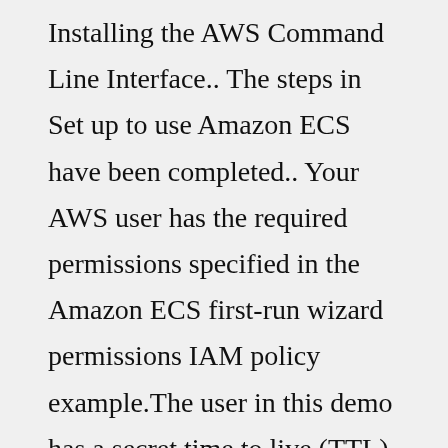Installing the AWS Command Line Interface.. The steps in Set up to use Amazon ECS have been completed.. Your AWS user has the required permissions specified in the Amazon ECS first-run wizard permissions IAM policy example.The user in this demo has a secret time to live (TTL) of 5 min. After 5 min the Vault Server will delete the ECS secret attached to iam-admin1. In this demo the